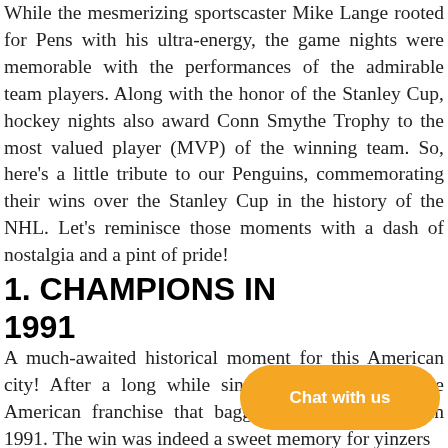While the mesmerizing sportscaster Mike Lange rooted for Pens with his ultra-energy, the game nights were memorable with the performances of the admirable team players. Along with the honor of the Stanley Cup, hockey nights also award Conn Smythe Trophy to the most valued player (MVP) of the winning team. So, here's a little tribute to our Penguins, commemorating their wins over the Stanley Cup in the history of the NHL. Let's reminisce those moments with a dash of nostalgia and a pint of pride!
1. CHAMPIONS IN 1991
A much-awaited historical moment for this American city! After a long while since 1983, they were the American franchise that bagged the Stanley Cup in 1991. The win was indeed a sweet memory for yinzers